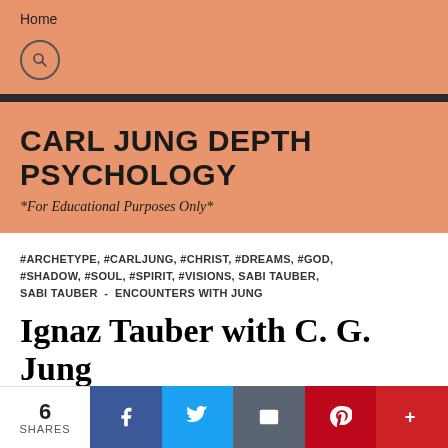Home
CARL JUNG DEPTH PSYCHOLOGY
*For Educational Purposes Only*
#ARCHETYPE, #CARLJUNG, #CHRIST, #DREAMS, #GOD, #SHADOW, #SOUL, #SPIRIT, #VISIONS, SABI TAUBER, SABI TAUBER - ENCOUNTERS WITH JUNG
Ignaz Tauber with C. G. Jung – June 8, 1957
6 SHARES